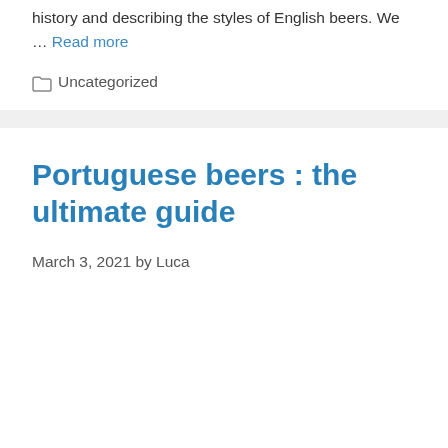history and describing the styles of English beers. We … Read more
Categories: Uncategorized
Portuguese beers : the ultimate guide
March 3, 2021 by Luca